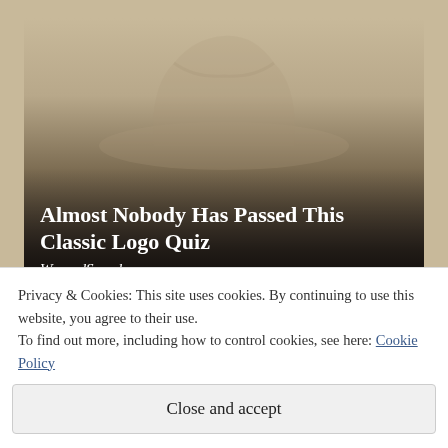[Figure (photo): A blurred/faded image of a person wearing a cowboy hat, with a dark gradient overlay at the bottom. The image fades into a dark background toward the bottom where article title text appears.]
Almost Nobody Has Passed This Classic Logo Quiz
WarpedSpeed
Privacy & Cookies: This site uses cookies. By continuing to use this website, you agree to their use.
To find out more, including how to control cookies, see here: Cookie Policy
Close and accept